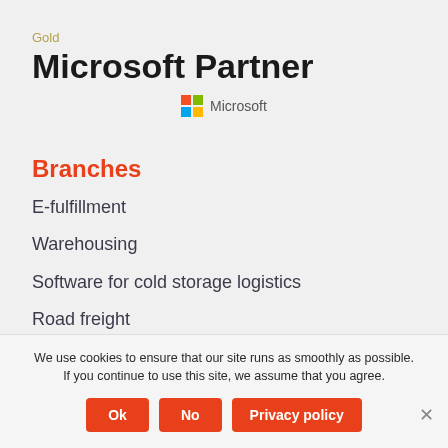Gold
Microsoft Partner
[Figure (logo): Microsoft four-color logo with the word 'Microsoft' to its right]
Branches
E-fulfillment
Warehousing
Software for cold storage logistics
Road freight
Customs
We use cookies to ensure that our site runs as smoothly as possible. If you continue to use this site, we assume that you agree.